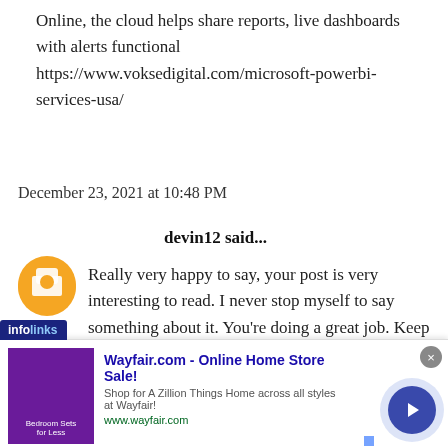Online, the cloud helps share reports, live dashboards with alerts functional https://www.voksedigital.com/microsoft-powerbi-services-usa/
December 23, 2021 at 10:48 PM
devin12 said...
Really very happy to say, your post is very interesting to read. I never stop myself to say something about it. You're doing a great job. Keep it up.
exipure reviews
December 28, 2021 at 9:15 PM
[Figure (screenshot): Wayfair.com advertisement banner with infolinks badge, showing bedroom sets image, ad title 'Wayfair.com - Online Home Store Sale!', subtitle text, and navigation button]